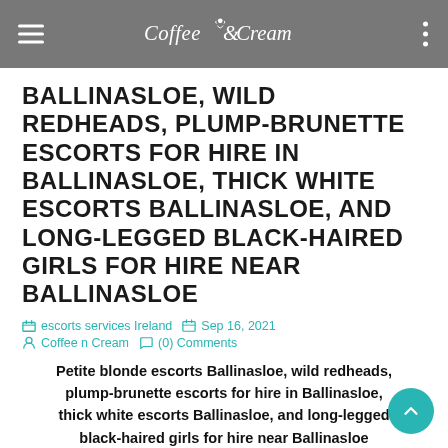Coffee & Cream
BALLINASLOE, WILD REDHEADS, PLUMP-BRUNETTE ESCORTS FOR HIRE IN BALLINASLOE, THICK WHITE ESCORTS BALLINASLOE, AND LONG-LEGGED BLACK-HAIRED GIRLS FOR HIRE NEAR BALLINASLOE
escorts services Ireland  Sep 16, 2021  Coffee n Cream  (0) Comments
Petite blonde escorts Ballinasloe, wild redheads, plump-brunette escorts for hire in Ballinasloe, thick white escorts Ballinasloe, and long-legged black-haired girls for hire near Ballinasloe
When it comes to hiring an escort, it is essential to